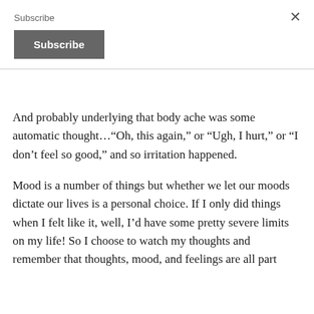Subscribe
Subscribe (button)
And probably underlying that body ache was some automatic thought…“Oh, this again,” or “Ugh, I hurt,” or “I don’t feel so good,” and so irritation happened.
Mood is a number of things but whether we let our moods dictate our lives is a personal choice.  If I only did things when I felt like it, well, I’d have some pretty severe limits on my life!  So I choose to watch my thoughts and remember that thoughts, mood, and feelings are all part